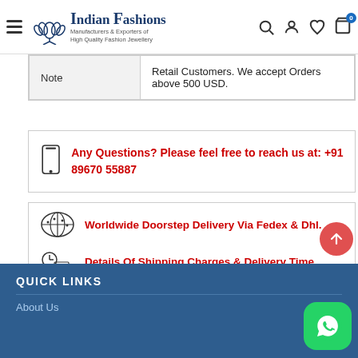Indian Fashions – Manufacturers & Exporters of High Quality Fashion Jewellery
| Note |  |
| --- | --- |
| Note | Retail Customers. We accept Orders above 500 USD. |
Any Questions? Please feel free to reach us at: +91 89670 55887
Worldwide Doorstep Delivery Via Fedex & Dhl.
Details Of Shipping Charges & Delivery Time
What Our Customers Say.....see Video Testimonials
See How We Manufacture | Factory Tour Album
QUICK LINKS
About Us